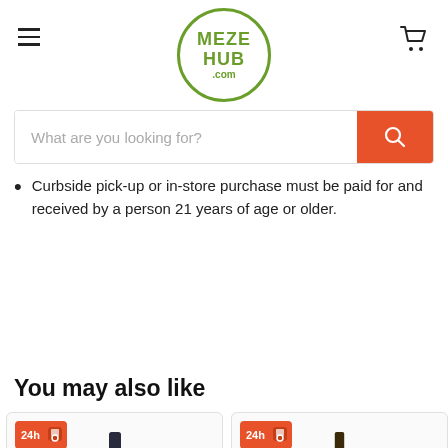[Figure (logo): MezeHub.com circular logo with green border and green text]
[Figure (screenshot): Search bar with placeholder text and orange search button]
Curbside pick-up or in-store purchase must be paid for and received by a person 21 years of age or older.
[Figure (other): Shopping cart bubble with 0 badge]
You may also like
[Figure (photo): Product card showing dark wine bottle with 24h delivery badge]
[Figure (photo): Product card showing wine bottle with 24h delivery badge and label]